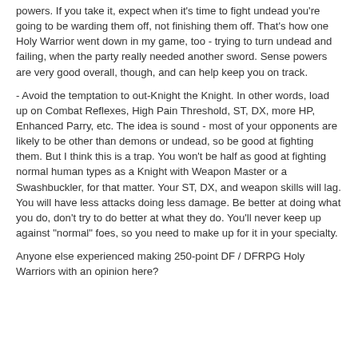powers. If you take it, expect when it's time to fight undead you're going to be warding them off, not finishing them off. That's how one Holy Warrior went down in my game, too - trying to turn undead and failing, when the party really needed another sword. Sense powers are very good overall, though, and can help keep you on track.
- Avoid the temptation to out-Knight the Knight. In other words, load up on Combat Reflexes, High Pain Threshold, ST, DX, more HP, Enhanced Parry, etc. The idea is sound - most of your opponents are likely to be other than demons or undead, so be good at fighting them. But I think this is a trap. You won't be half as good at fighting normal human types as a Knight with Weapon Master or a Swashbuckler, for that matter. Your ST, DX, and weapon skills will lag. You will have less attacks doing less damage. Be better at doing what you do, don't try to do better at what they do. You'll never keep up against "normal" foes, so you need to make up for it in your specialty.
Anyone else experienced making 250-point DF / DFRPG Holy Warriors with an opinion here?